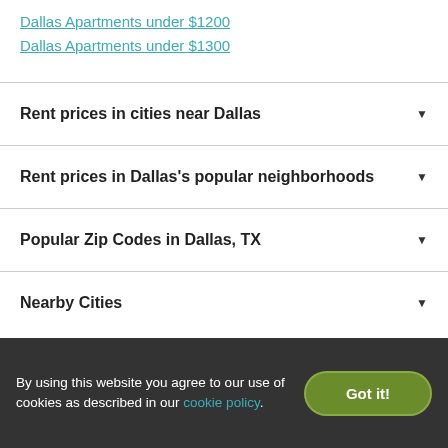Dallas Apartments under $1200
Dallas Apartments under $1300
Rent prices in cities near Dallas
Rent prices in Dallas's popular neighborhoods
Popular Zip Codes in Dallas, TX
Nearby Cities
Look for apartments near me
By using this website you agree to our use of cookies as described in our cookie policy.